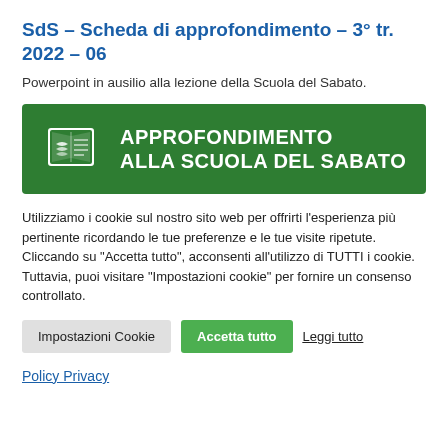SdS – Scheda di approfondimento – 3° tr. 2022 – 06
Powerpoint in ausilio alla lezione della Scuola del Sabato.
[Figure (logo): Green banner with book/leaf logo on the left and white bold text: APPROFONDIMENTO ALLA SCUOLA DEL SABATO]
Utilizziamo i cookie sul nostro sito web per offrirti l'esperienza più pertinente ricordando le tue preferenze e le tue visite ripetute. Cliccando su "Accetta tutto", acconsenti all'utilizzo di TUTTI i cookie. Tuttavia, puoi visitare "Impostazioni cookie" per fornire un consenso controllato.
Impostazioni Cookie   Accetta tutto   Leggi tutto
Policy Privacy